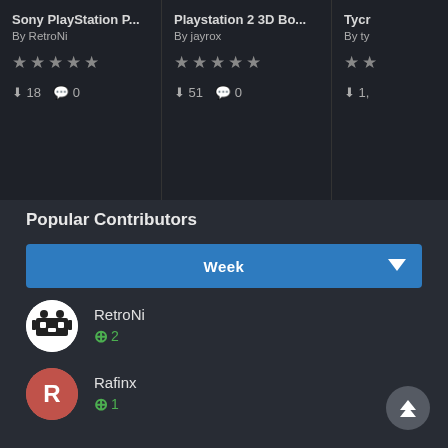[Figure (screenshot): Top bar showing three partially visible game/mod cards: 'Sony PlayStation P...' by RetroNi (stars, 18 downloads, 0 comments), 'Playstation 2 3D Bo...' by jayrox (stars, 51 downloads, 0 comments), 'Tycr...' by ty (stars, 1... downloads)]
Popular Contributors
Week (dropdown selector)
RetroNi +2
Rafinx +1
MadK9 +1
tycho1974 +1